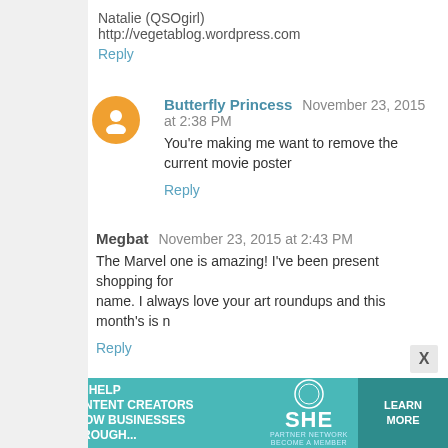Natalie (QSOgirl)
http://vegetablog.wordpress.com
Reply
Butterfly Princess   November 23, 2015 at 2:38 PM
You're making me want to remove the current movie poster
Reply
Megbat   November 23, 2015 at 2:43 PM
The Marvel one is amazing! I've been present shopping for name. I always love your art roundups and this month's is n
Reply
LVimislik   November 23, 2015 at 2:47 PM
Eep! You always find AMAZING art! Love the Disney sketc silhouette geeky prints...somehow, I don't think my poor boy I love both of those extra pieces, so I definitely wouldn't say
Reply
[Figure (infographic): SHE Partner Network advertisement banner — teal background, woman with laptop, text 'We help content creators grow businesses through...', SHE logo, Learn More button]